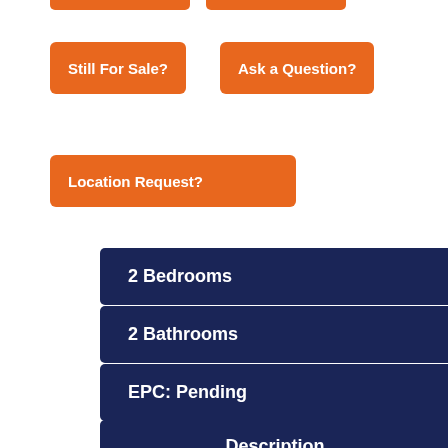[Figure (other): Partial orange buttons cut off at top of page]
Still For Sale?
Ask a Question?
Location Request?
2 Bedrooms
2 Bathrooms
EPC: Pending
Description
Map